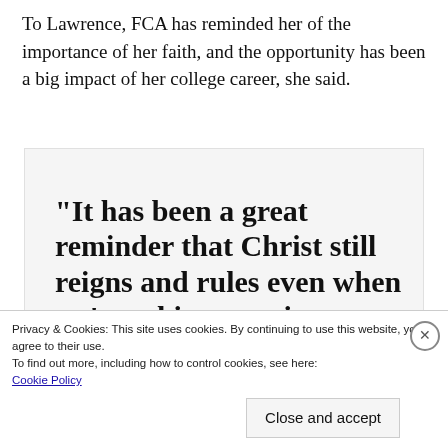To Lawrence, FCA has reminded her of the importance of her faith, and the opportunity has been a big impact of her college career, she said.
“It has been a great reminder that Christ still reigns and rules even when we’re taking part in our [activities/events – text cut off]
Privacy & Cookies: This site uses cookies. By continuing to use this website, you agree to their use. To find out more, including how to control cookies, see here: Cookie Policy